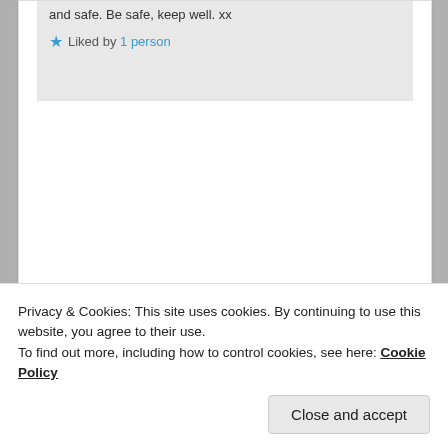and safe. Be safe, keep well. xx
★ Liked by 1 person
Advertisements
The Platform Where WordPress Works Best   ▣ Bossable
[Figure (photo): Profile photo thumbnail of a person]
Privacy & Cookies: This site uses cookies. By continuing to use this website, you agree to their use.
To find out more, including how to control cookies, see here: Cookie Policy
Close and accept